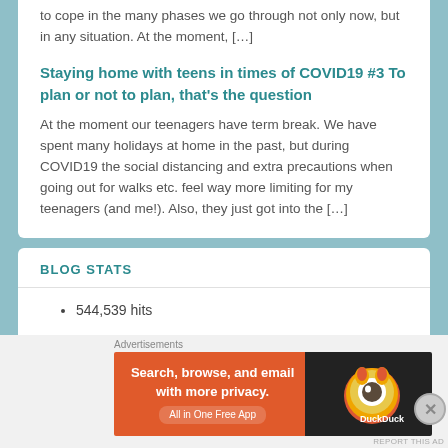to cope in the many phases we go through not only now, but in any situation. At the moment, […]
Staying home with teens in times of COVID19 #3 To plan or not to plan, that's the question
At the moment our teenagers have term break. We have spent many holidays at home in the past, but during COVID19 the social distancing and extra precautions when going out for walks etc. feel way more limiting for my teenagers (and me!). Also, they just got into the […]
BLOG STATS
544,539 hits
[Figure (infographic): DuckDuckGo advertisement banner: orange and dark background with text 'Search, browse, and email with more privacy. All in One Free App' and DuckDuckGo logo with duck icon]